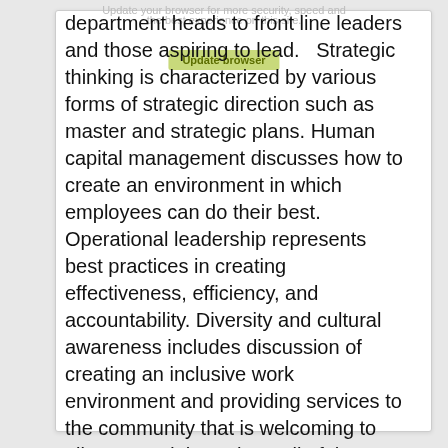department heads to front line leaders and those aspiring to lead.  Strategic thinking is characterized by various forms of strategic direction such as master and strategic plans. Human capital management discusses how to create an environment in which employees can do their best.  Operational leadership represents best practices in creating effectiveness, efficiency, and accountability. Diversity and cultural awareness includes discussion of creating an inclusive work environment and providing services to the community that is welcoming to all.  Weaved throughout all of these areas is an emphasis on developing cultural competence and well defined organizational values.